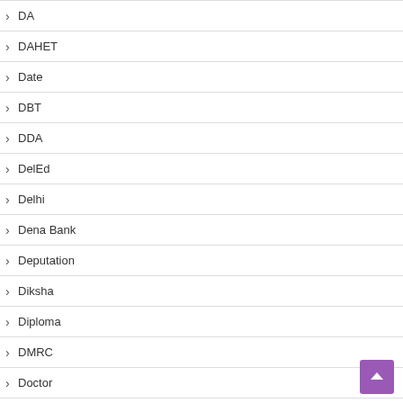DA
DAHET
Date
DBT
DDA
DelEd
Delhi
Dena Bank
Deputation
Diksha
Diploma
DMRC
Doctor
Draughtsman
DRDA.
Drdo.